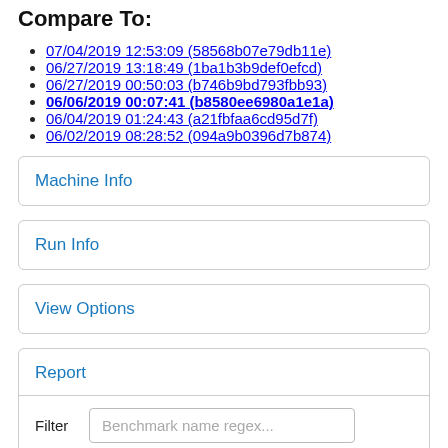Compare To:
07/04/2019 12:53:09 (58568b07e79db11e)
06/27/2019 13:18:49 (1ba1b3b9def0efcd)
06/27/2019 00:50:03 (b746b9bd793fbb93)
06/06/2019 00:07:41 (b8580ee6980a1e1a)
06/04/2019 01:24:43 (a21fbfaa6cd95d7f)
06/02/2019 08:28:52 (094a9b0396d7b874)
Machine Info
Run Info
View Options
Report
Filter  Benchmark name regex...